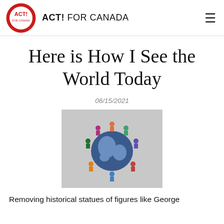ACT! FOR CANADA
Here is How I See the World Today
06/15/2021
[Figure (photo): Aerial view of diverse group of people standing in a circle around a large world globe map on the floor, viewed from above]
Removing historical statues of figures like George